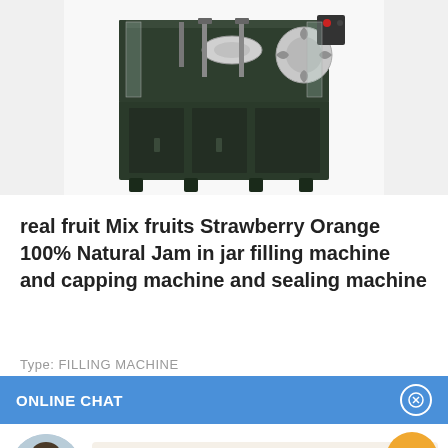[Figure (photo): Industrial filling machine with metal cabinet base, conveyor system, rotating parts, and control panel visible at top. Machine has dark green/black metal housing.]
real fruit Mix fruits Strawberry Orange 100% Natural Jam in jar filling machine and capping machine and sealing machine
Type: FILLING MACHINE
ONLINE CHAT
Hi,welcome to visit our website.
Cilina